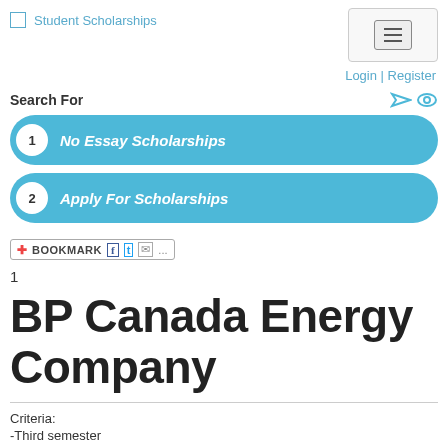Student Scholarships
Login | Register
Search For
1  No Essay Scholarships
2  Apply For Scholarships
[Figure (screenshot): Bookmark widget with social sharing icons for Facebook, Twitter, and email]
1
BP Canada Energy Company
Criteria:
-Third semester